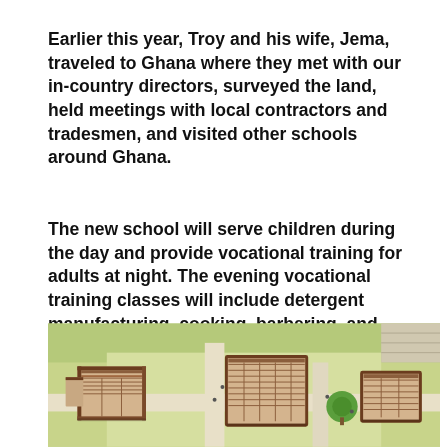Earlier this year, Troy and his wife, Jema, traveled to Ghana where they met with our in-country directors, surveyed the land, held meetings with local contractors and tradesmen, and visited other schools around Ghana.
The new school will serve children during the day and provide vocational training for adults at night. The evening vocational training classes will include detergent manufacturing, cooking, barbering, and sewing instruction.
[Figure (illustration): Aerial/bird's-eye architectural rendering of a school campus in Ghana, showing multiple flat-roofed buildings with brown/terracotta-colored facades arranged around outdoor spaces, with green grass areas, a tree, pathways, and small human figures for scale.]